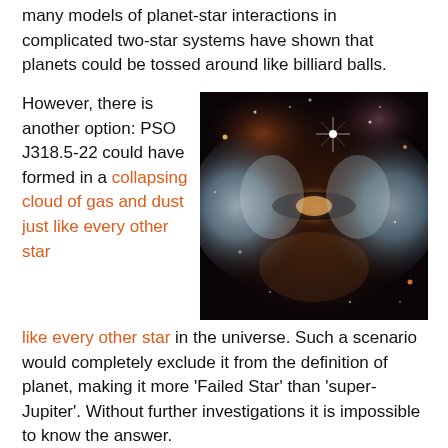many models of planet-star interactions in complicated two-star systems have shown that planets could be tossed around like billiard balls.
However, there is another option: PSO J318.5-22 could have formed in a collapsing cloud of gas and dust just like every other star in the universe. Such a scenario would completely exclude it from the definition of planet, making it more ‘Failed Star’ than ‘super-Jupiter’. Without further investigations it is impossible to know the answer.
[Figure (photo): Hubble Space Telescope image of a nebula — two bright lobes of glowing gas and dust separated by a dark lane, resembling a butterfly or hourglass shape. Stars visible in background.]
however, the question of formation has been contentious